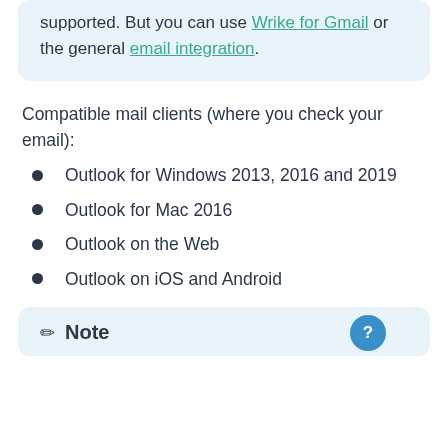supported. But you can use Wrike for Gmail or the general email integration.
Compatible mail clients (where you check your email):
Outlook for Windows 2013, 2016 and 2019
Outlook for Mac 2016
Outlook on the Web
Outlook on iOS and Android
Note